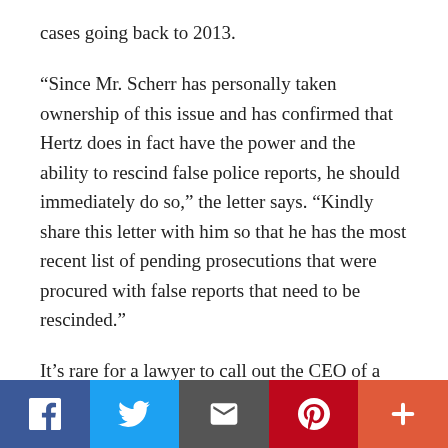cases going back to 2013.
“Since Mr. Scherr has personally taken ownership of this issue and has confirmed that Hertz does in fact have the power and the ability to rescind false police reports, he should immediately do so,” the letter says. “Kindly share this letter with him so that he has the most recent list of pending prosecutions that were procured with false reports that need to be rescinded.”
It’s rare for a lawyer to call out the CEO of a Fortune 500 company personally like this–but then Scherr’s public statements practically invited